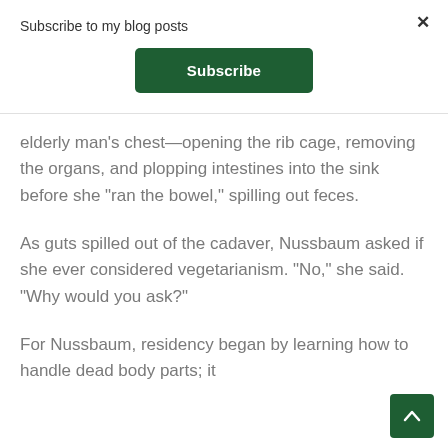Subscribe to my blog posts
Subscribe
elderly man's chest—opening the rib cage, removing the organs, and plopping intestines into the sink before she “ran the bowel,” spilling out feces.
As guts spilled out of the cadaver, Nussbaum asked if she ever considered vegetarianism. “No,” she said. “Why would you ask?”
For Nussbaum, residency began by learning how to handle dead body parts; it